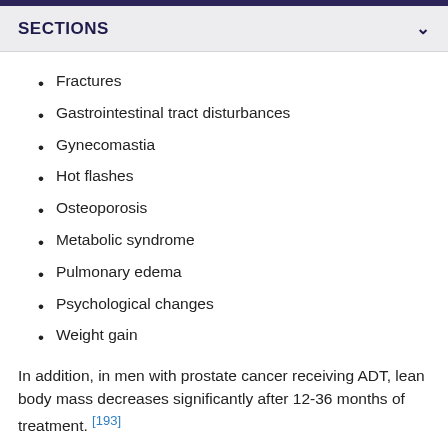SECTIONS
Fractures
Gastrointestinal tract disturbances
Gynecomastia
Hot flashes
Osteoporosis
Metabolic syndrome
Pulmonary edema
Psychological changes
Weight gain
In addition, in men with prostate cancer receiving ADT, lean body mass decreases significantly after 12-36 months of treatment. [193]
Uncertainty remains about the impact of androgen ablation on cardiovascular morbidity and mortality. However, the combination of weight gain and anemia in